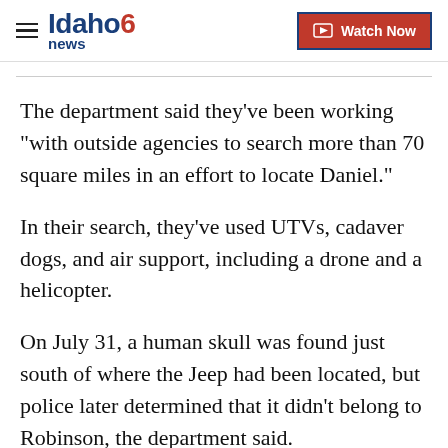Idaho News 6 — Watch Now
The department said they've been working "with outside agencies to search more than 70 square miles in an effort to locate Daniel."
In their search, they've used UTVs, cadaver dogs, and air support, including a drone and a helicopter.
On July 31, a human skull was found just south of where the Jeep had been located, but police later determined that it didn't belong to Robinson, the department said.
"No additional human remains have been found, the investigation is ongoing," the department said.